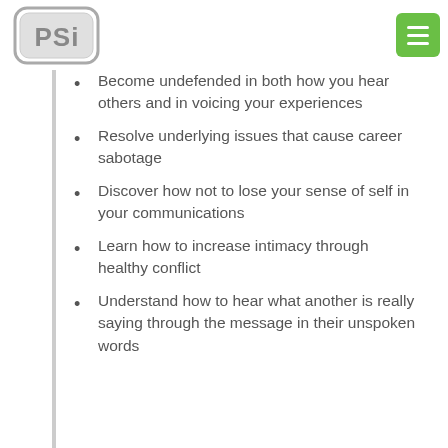PSi logo and menu button
Become undefended in both how you hear others and in voicing your experiences
Resolve underlying issues that cause career sabotage
Discover how not to lose your sense of self in your communications
Learn how to increase intimacy through healthy conflict
Understand how to hear what another is really saying through the message in their unspoken words